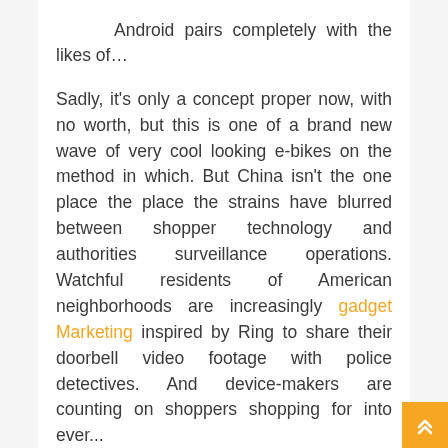Android pairs completely with the likes of… Sadly, it's only a concept proper now, with no worth, but this is one of a brand new wave of very cool looking e-bikes on the method in which. But China isn't the one place the place the strains have blurred between shopper technology and authorities surveillance operations. Watchful residents of American neighborhoods are increasingly gadget Marketing inspired by Ring to share their doorbell video footage with police detectives. And device-makers are counting on shoppers shopping for into ever...